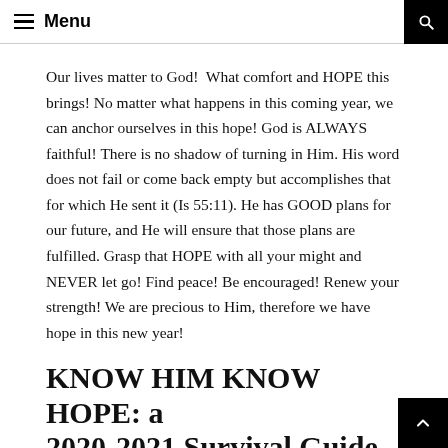Menu
Our lives matter to God!  What comfort and HOPE this brings! No matter what happens in this coming year, we can anchor ourselves in this hope! God is ALWAYS faithful! There is no shadow of turning in Him. His word does not fail or come back empty but accomplishes that for which He sent it (Is 55:11). He has GOOD plans for our future, and He will ensure that those plans are fulfilled. Grasp that HOPE with all your might and NEVER let go! Find peace! Be encouraged! Renew your strength! We are precious to Him, therefore we have hope in this new year!
KNOW HIM KNOW HOPE: a 2020-2021 Survival Guide